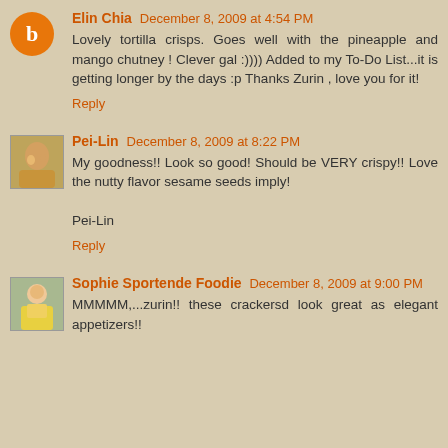Elin Chia December 8, 2009 at 4:54 PM
Lovely tortilla crisps. Goes well with the pineapple and mango chutney ! Clever gal :)))) Added to my To-Do List...it is getting longer by the days :p Thanks Zurin , love you for it!
Reply
Pei-Lin December 8, 2009 at 8:22 PM
My goodness!! Look so good! Should be VERY crispy!! Love the nutty flavor sesame seeds imply!

Pei-Lin
Reply
Sophie Sportende Foodie December 8, 2009 at 9:00 PM
MMMMM,...zurin!! these crackersd look great as elegant appetizers!!